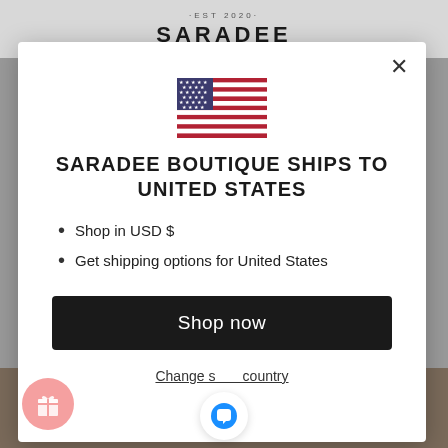·EST 2020· SARADEE
[Figure (illustration): US flag emoji/illustration]
SARADEE BOUTIQUE SHIPS TO UNITED STATES
Shop in USD $
Get shipping options for United States
Shop now
Change shipping country